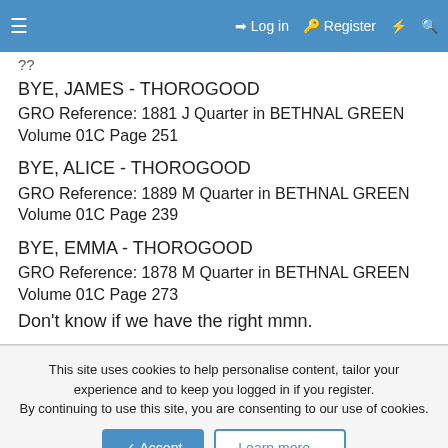Log in   Register
??
BYE, JAMES - THOROGOOD
GRO Reference: 1881 J Quarter in BETHNAL GREEN Volume 01C Page 251
BYE, ALICE - THOROGOOD
GRO Reference: 1889 M Quarter in BETHNAL GREEN Volume 01C Page 239
BYE, EMMA - THOROGOOD
GRO Reference: 1878 M Quarter in BETHNAL GREEN Volume 01C Page 273
Don't know if we have the right mmn.
This site uses cookies to help personalise content, tailor your experience and to keep you logged in if you register.
By continuing to use this site, you are consenting to our use of cookies.